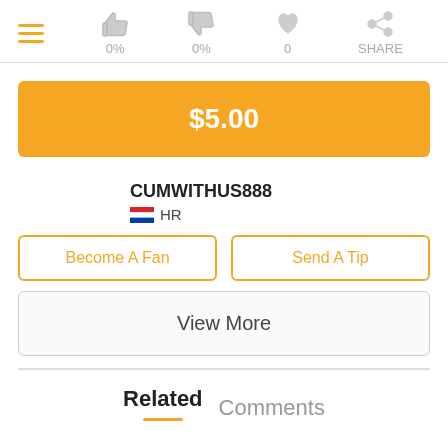≡  0%  0%  0  SHARE
$5.00
CUMWITHUS888
🇭🇷 HR
Become A Fan
Send A Tip
View More
Related   Comments